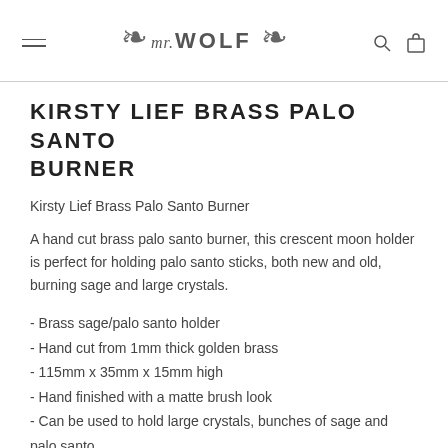mr. WOLF (logo with botanical decorations)
KIRSTY LIEF BRASS PALO SANTO BURNER
Kirsty Lief Brass Palo Santo Burner
A hand cut brass palo santo burner, this crescent moon holder is perfect for holding palo santo sticks, both new and old, burning sage and large crystals.
- Brass sage/palo santo holder
- Hand cut from 1mm thick golden brass
- 115mm x 35mm x 15mm high
- Hand finished with a matte brush look
- Can be used to hold large crystals, bunches of sage and palo santo.